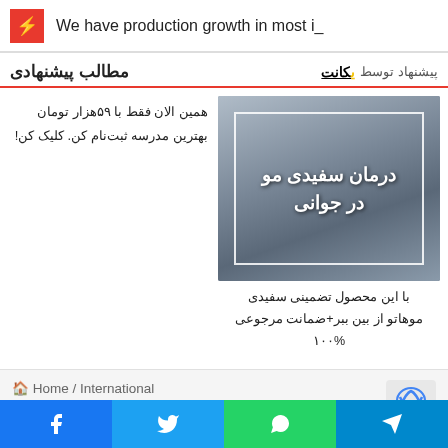We have production growth in most i_
مطالب پیشنهادی  پیشنهاد توسط یکانت
[Figure (photo): Advertisement image showing a man touching his hair with Persian text درمان سفیدی مو در جوانی (Treatment for premature grey hair)]
با این محصول تضمینی سفیدی موهاتو از بین ببر+ضمانت مرجوعی ۱۰۰%
همین الان فقط با ۵۹هزار تومان بهترین مدرسه ثبت‌نام کن. کلیک کن!
🏠 Home / International
Facebook  Twitter  WhatsApp  Telegram